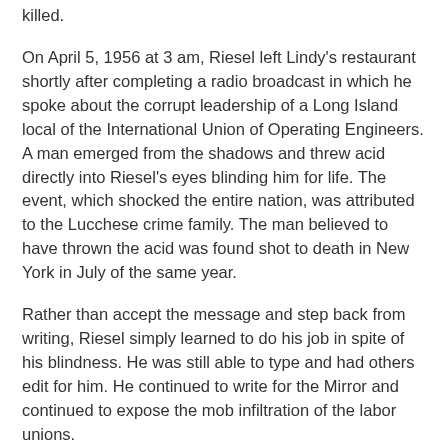killed.
On April 5, 1956 at 3 am, Riesel left Lindy's restaurant shortly after completing a radio broadcast in which he spoke about the corrupt leadership of a Long Island local of the International Union of Operating Engineers. A man emerged from the shadows and threw acid directly into Riesel's eyes blinding him for life. The event, which shocked the entire nation, was attributed to the Lucchese crime family. The man believed to have thrown the acid was found shot to death in New York in July of the same year.
Rather than accept the message and step back from writing, Riesel simply learned to do his job in spite of his blindness. He was still able to type and had others edit for him. He continued to write for the Mirror and continued to expose the mob infiltration of the labor unions.
In addition, Riesel made radio and TV appearances as well as giving lectures. At one point, he served as president of the Overseas Press Club of America.